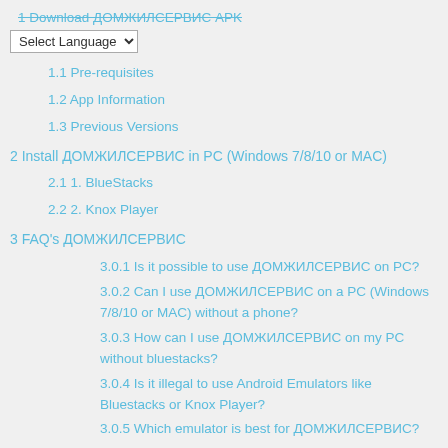1 Download ДОМЖИЛСЕРВИС APK
1.1 Pre-requisites
1.2 App Information
1.3 Previous Versions
2 Install ДОМЖИЛСЕРВИС in PC (Windows 7/8/10 or MAC)
2.1 1. BlueStacks
2.2 2. Knox Player
3 FAQ's ДОМЖИЛСЕРВИС
3.0.1 Is it possible to use ДОМЖИЛСЕРВИС on PC?
3.0.2 Can I use ДОМЖИЛСЕРВИС on a PC (Windows 7/8/10 or MAC) without a phone?
3.0.3 How can I use ДОМЖИЛСЕРВИС on my PC without bluestacks?
3.0.4 Is it illegal to use Android Emulators like Bluestacks or Knox Player?
3.0.5 Which emulator is best for ДОМЖИЛСЕРВИС?
3.0.6 Is Android Emulator(Bluestack, Knox player, Memu Play, Gameloop) free or paid?